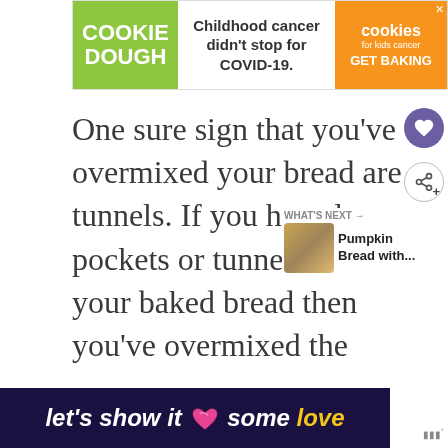[Figure (screenshot): Advertisement banner for Cookie Dough / Cookies for Kids Cancer. Green left panel with 'COOKIE DOUGH' text, white middle with 'Childhood cancer didn't stop for COVID-19.', orange right panel with cookies logo and 'GET BAKING' button.]
One sure sign that you've overmixed your bread are tunnels. If you have large pockets or tunnels in your baked bread then you've overmixed the
[Figure (infographic): WHAT'S NEXT arrow with thumbnail image of pumpkin bread and text 'Pumpkin Bread with...']
[Figure (infographic): Bottom banner with dark purple background: 'let's show it some love' with heart icon, yellow 'love' word]